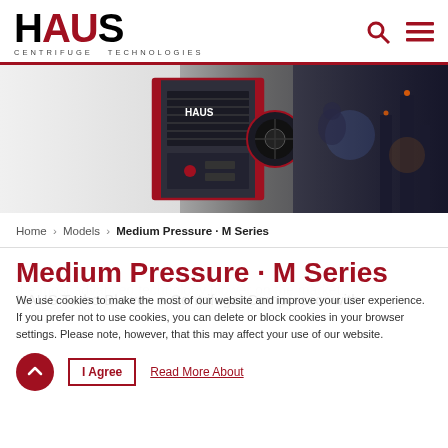HAUS Centrifuge Technologies - Navigation header with logo, search icon, and menu icon
[Figure (photo): Hero banner showing a HAUS Turbo Blower / centrifugal compressor unit (dark metallic machine cabinet) on a light industrial background with a factory night scene on the right side]
Home > Models > Medium Pressure · M Series
Medium Pressure · M Series
HAUS Turbo Blower. a Centrifugal Compressor with
We use cookies to make the most of our website and improve your user experience. If you prefer not to use cookies, you can delete or block cookies in your browser settings. Please note, however, that this may affect your use of our website.
I Agree
Read More About